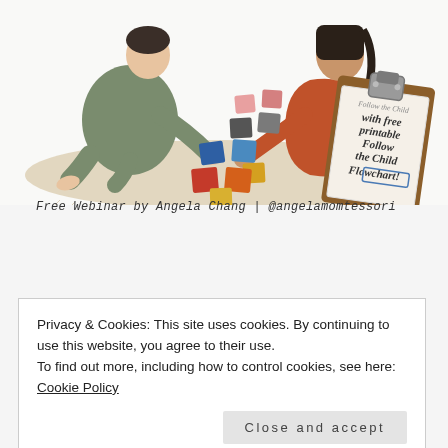[Figure (illustration): Illustration of two people (one in green, one in orange) sitting on the floor with colored squares/tiles. A clipboard in the top right reads 'with free printable Follow the Child Flowchart!' Captioned: 'Free Webinar by Angela Chang | @angelamomtessori']
Free Webinar by Angela Chang | @angelamomtessori
Privacy & Cookies: This site uses cookies. By continuing to use this website, you agree to their use.
To find out more, including how to control cookies, see here: Cookie Policy
Close and accept